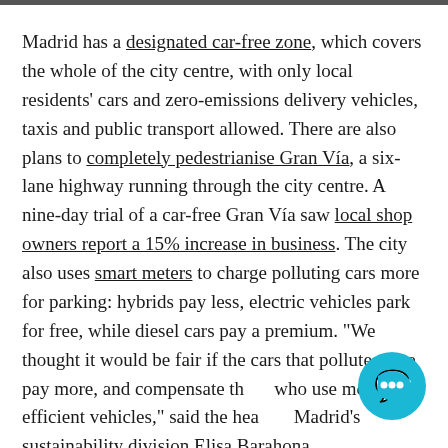Madrid has a designated car-free zone, which covers the whole of the city centre, with only local residents' cars and zero-emissions delivery vehicles, taxis and public transport allowed. There are also plans to completely pedestrianise Gran Vía, a six-lane highway running through the city centre. A nine-day trial of a car-free Gran Vía saw local shop owners report a 15% increase in business. The city also uses smart meters to charge polluting cars more for parking: hybrids pay less, electric vehicles park for free, while diesel cars pay a premium. "We thought it would be fair if the cars that pollute more pay more, and compensate those who use more efficient vehicles," said the head of Madrid's sustainability division Elisa Barahona.
[Figure (other): Teal/blue circular chat bubble button icon in the bottom-right corner of the page.]